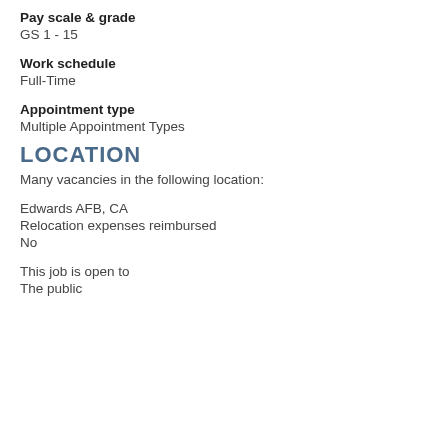Pay scale & grade
GS 1 - 15
Work schedule
Full-Time
Appointment type
Multiple Appointment Types
LOCATION
Many vacancies in the following location:
Edwards AFB, CA
Relocation expenses reimbursed
No
This job is open to
The public